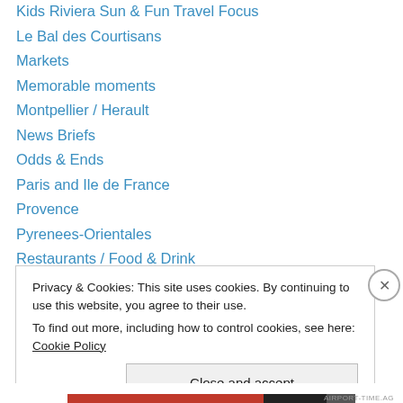Kids Riviera Sun & Fun Travel Focus
Le Bal des Courtisans
Markets
Memorable moments
Montpellier / Herault
News Briefs
Odds & Ends
Paris and Ile de France
Provence
Pyrenees-Orientales
Restaurants / Food & Drink
Travel adventures
Travel insights / Local destinations
U.S.A.
Privacy & Cookies: This site uses cookies. By continuing to use this website, you agree to their use.
To find out more, including how to control cookies, see here: Cookie Policy
Close and accept